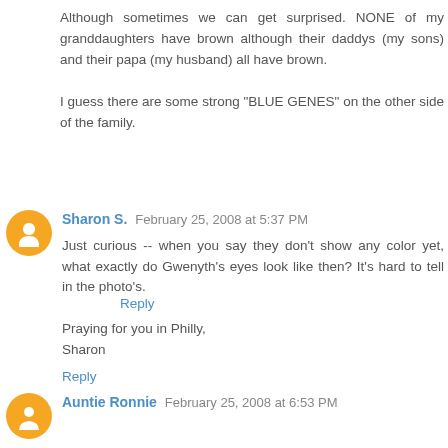Although sometimes we can get surprised. NONE of my granddaughters have brown although their daddys (my sons) and their papa (my husband) all have brown.

I guess there are some strong "BLUE GENES" on the other side of the family.
Reply
Sharon S.  February 25, 2008 at 5:37 PM
Just curious -- when you say they don't show any color yet, what exactly do Gwenyth's eyes look like then? It's hard to tell in the photo's.

Praying for you in Philly,
Sharon
Reply
Auntie Ronnie  February 25, 2008 at 6:53 PM